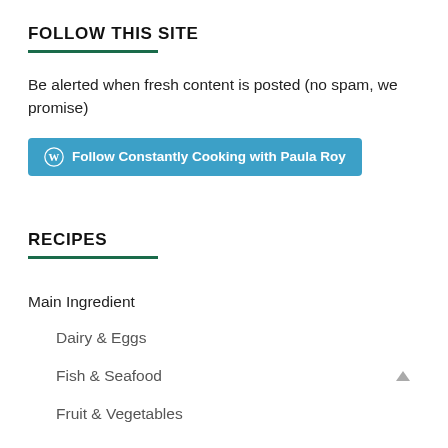FOLLOW THIS SITE
Be alerted when fresh content is posted (no spam, we promise)
[Figure (other): WordPress follow button: 'Follow Constantly Cooking with Paula Roy' in teal/blue rounded rectangle with WordPress icon]
RECIPES
Main Ingredient
Dairy & Eggs
Fish & Seafood
Fruit & Vegetables